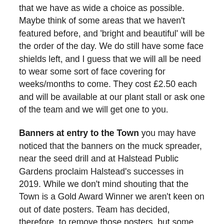that we have as wide a choice as possible. Maybe think of some areas that we haven't featured before, and 'bright and beautiful' will be the order of the day. We do still have some face shields left, and I guess that we will all be need to wear some sort of face covering for weeks/months to come. They cost £2.50 each and will be available at our plant stall or ask one of the team and we will get one to you.
Banners at entry to the Town you may have noticed that the banners on the muck spreader, near the seed drill and at Halstead Public Gardens proclaim Halstead's successes in 2019. While we don't mind shouting that the Town is a Gold Award Winner we aren't keen on out of date posters. Team has decided, therefore, to remove those posters, but some others noting successes will be hung.
I think that's all the current news, so stay optimistic and hope for the best...